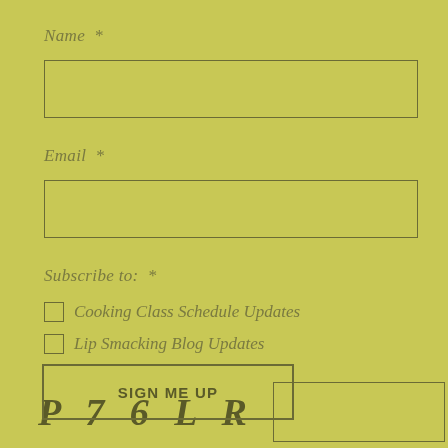Name *
(Name input field)
Email *
(Email input field)
Subscribe to: *
☐ Cooking Class Schedule Updates
☐ Lip Smacking Blog Updates
P 7 6 L R (captcha)
SIGN ME UP